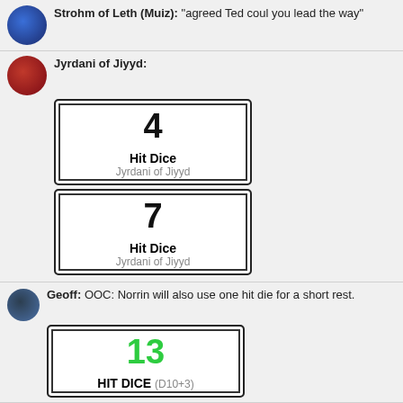Strohm of Leth (Muiz): "agreed Ted coul you lead the way"
Jyrdani of Jiyyd:
[Figure (other): Dice roll card showing 4, Hit Dice, Jyrdani of Jiyyd]
[Figure (other): Dice roll card showing 7, Hit Dice, Jyrdani of Jiyyd]
Geoff: OOC: Norrin will also use one hit die for a short rest.
[Figure (other): Dice roll card showing 13 in green, HIT DICE (D10+3)]
Ted: water on the left
whispers ted
Kenny - Syrus: Hi Everyone! Shall I sing a Song of Rest?
Simon N. (GM): OOC Your 10lb of mithril is worth 1000gp BTW